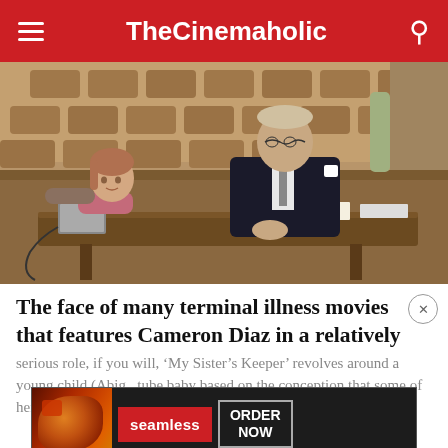TheCinemaholic
[Figure (photo): Courtroom scene with a young girl in a pink top and a man in a dark suit seated at a table, empty courtroom seats visible in the background]
The face of many terminal illness movies that features Cameron Diaz in a relatively serious role, if you will, ‘My Sister’s Keeper’ revolves around a young child (Abigail...) tube baby based on the conception that some of her
[Figure (other): Seamless food delivery advertisement banner showing pizza image on left, Seamless logo in red, and ORDER NOW button on right]